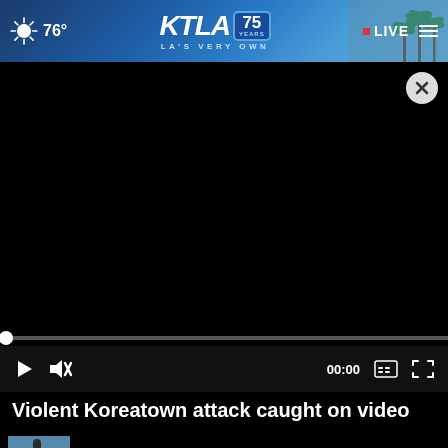76° KTLA 75 YEARS LA'S VERY OWN • LIVE
[Figure (screenshot): Black video player with progress bar showing 00:00, play button, mute button, captions button, and fullscreen button. A close (X) button appears in the top-right of the video area.]
Violent Koreatown attack caught on video
Weather / 2 weeks ago